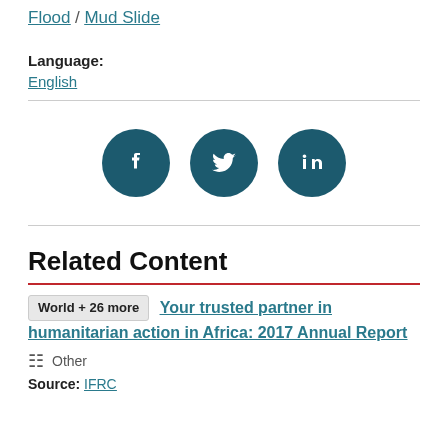Flood / Mud Slide
Language:
English
[Figure (other): Social media share buttons: Facebook, Twitter, LinkedIn — three dark teal circular icons]
Related Content
World + 26 more    Your trusted partner in humanitarian action in Africa: 2017 Annual Report
Other
Source: IFRC